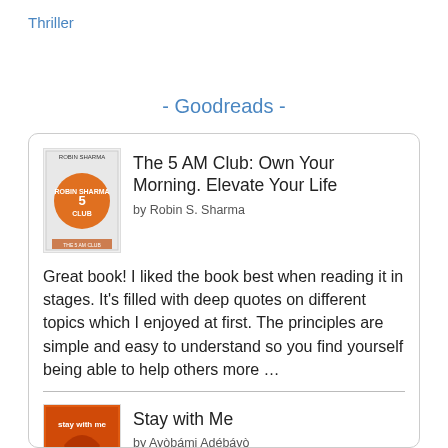Thriller
- Goodreads -
The 5 AM Club: Own Your Morning. Elevate Your Life by Robin S. Sharma
Great book! I liked the book best when reading it in stages. It's filled with deep quotes on different topics which I enjoyed at first. The principles are simple and easy to understand so you find yourself being able to help others more …
Stay with Me by Ayòbámi Adébáyò
Great book showing different cultural views on universal topics like family, infertility and marriage.